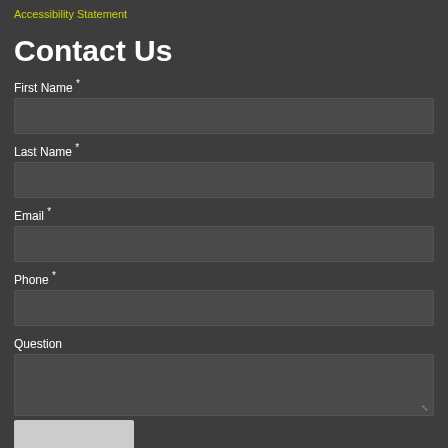Accessibility Statement
Contact Us
First Name *
Last Name *
Email *
Phone *
Question
[Figure (screenshot): reCAPTCHA widget at the bottom of the form]